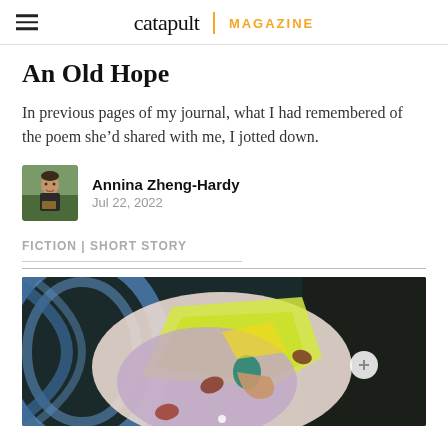catapult MAGAZINE
An Old Hope
In previous pages of my journal, what I had remembered of the poem she’d shared with me, I jotted down.
Annina Zheng-Hardy
Jul 22, 2022
FICTION | SHORT STORY
[Figure (illustration): Colorful painting depicting figures in an abstract tunnel or curved space with blue, yellow, purple, and green tones. A circular navigation button is visible on the right side.]